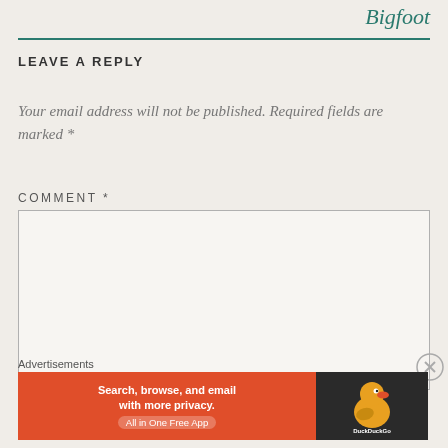Bigfoot
LEAVE A REPLY
Your email address will not be published. Required fields are marked *
COMMENT *
[Figure (screenshot): Empty comment text area box with light gray border]
Advertisements
[Figure (screenshot): DuckDuckGo advertisement banner: Search, browse, and email with more privacy. All in One Free App]